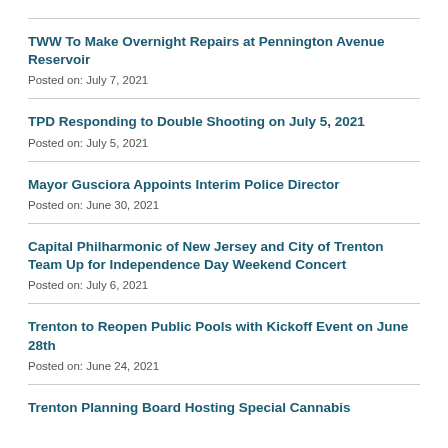TWW To Make Overnight Repairs at Pennington Avenue Reservoir
Posted on: July 7, 2021
TPD Responding to Double Shooting on July 5, 2021
Posted on: July 5, 2021
Mayor Gusciora Appoints Interim Police Director
Posted on: June 30, 2021
Capital Philharmonic of New Jersey and City of Trenton Team Up for Independence Day Weekend Concert
Posted on: July 6, 2021
Trenton to Reopen Public Pools with Kickoff Event on June 28th
Posted on: June 24, 2021
Trenton Planning Board Hosting Special Cannabis